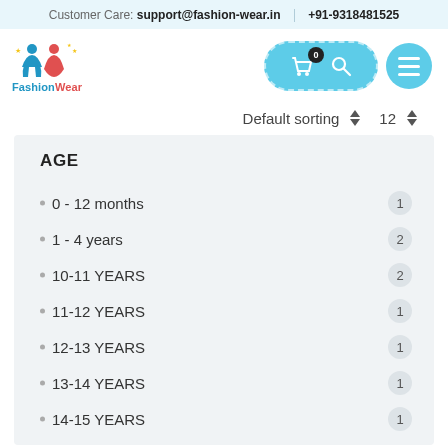Customer Care: support@fashion-wear.in | +91-9318481525
[Figure (logo): FashionWear logo with colorful clothing icons and brand name in blue and red]
[Figure (infographic): Navigation icons: cart with badge 0, search icon in teal pill, menu hamburger circle]
Default sorting ▲▼   12 ▲▼
AGE
0 - 12 months   1
1 - 4 years   2
10-11 YEARS   2
11-12 YEARS   1
12-13 YEARS   1
13-14 YEARS   1
14-15 YEARS   1